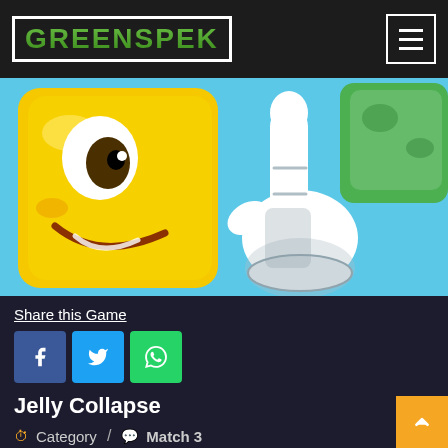GREENSPEK
[Figure (illustration): Game cover art for Jelly Collapse showing a yellow smiley cube character with a cartoon gloved hand pointing/tapping it, on a blue background with green elements]
Share this Game
Jelly Collapse
Category / Match 3
If you like challenging Match3 puzzle games,